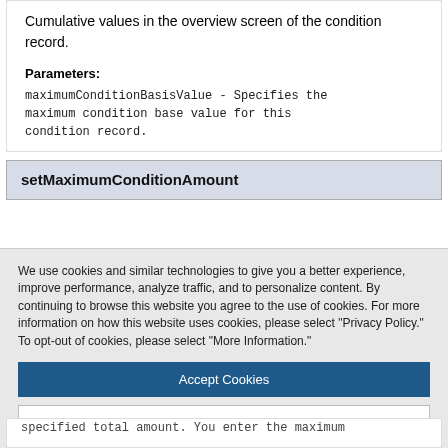Cumulative values in the overview screen of the condition record.
Parameters:
maximumConditionBasisValue - Specifies the maximum condition base value for this condition record.
setMaximumConditionAmount
We use cookies and similar technologies to give you a better experience, improve performance, analyze traffic, and to personalize content. By continuing to browse this website you agree to the use of cookies. For more information on how this website uses cookies, please select "Privacy Policy." To opt-out of cookies, please select "More Information."
Accept Cookies
More Information
Privacy Policy | Powered by: TrustArc
specified total amount. You enter the maximum